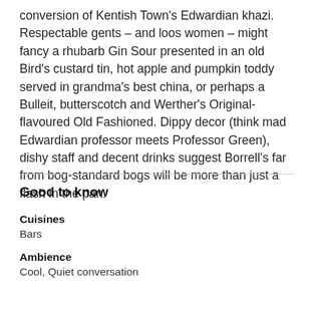conversion of Kentish Town's Edwardian khazi. Respectable gents – and loos women – might fancy a rhubarb Gin Sour presented in an old Bird's custard tin, hot apple and pumpkin toddy served in grandma's best china, or perhaps a Bulleit, butterscotch and Werther's Original-flavoured Old Fashioned. Dippy decor (think mad Edwardian professor meets Professor Green), dishy staff and decent drinks suggest Borrell's far from bog-standard bogs will be more than just a flash in the pan.
Good to know
Cuisines
Bars
Ambience
Cool, Quiet conversation